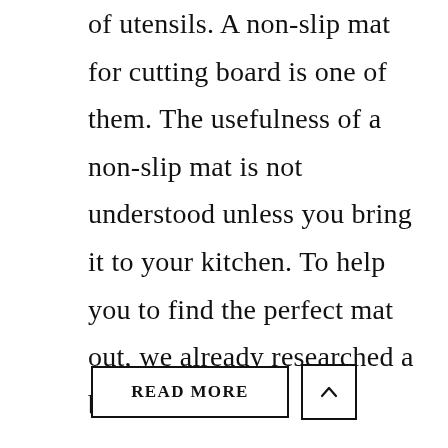of utensils. A non-slip mat for cutting board is one of them. The usefulness of a non-slip mat is not understood unless you bring it to your kitchen. To help you to find the perfect mat out, we already researched a bunch of ...
READ MORE